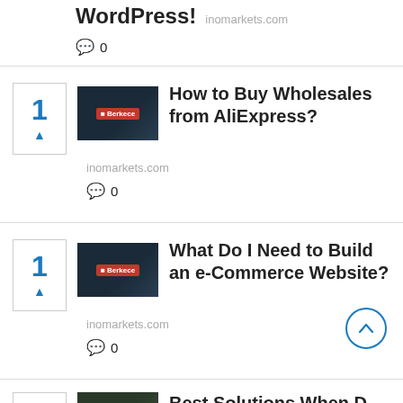WordPress! inomarkets.com
💬 0
1 ▲ How to Buy Wholesales from AliExpress? inomarkets.com 💬 0
1 ▲ What Do I Need to Build an e-Commerce Website? inomarkets.com 💬 0
Best Solutions When D...